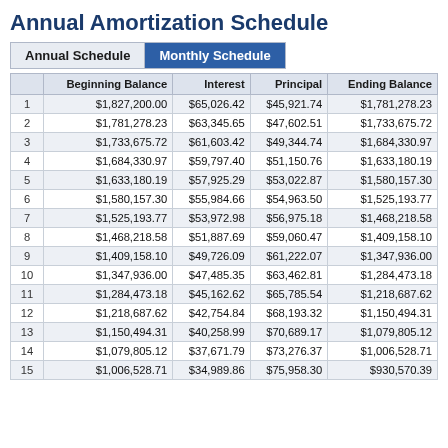Annual Amortization Schedule
|  | Beginning Balance | Interest | Principal | Ending Balance |
| --- | --- | --- | --- | --- |
| 1 | $1,827,200.00 | $65,026.42 | $45,921.74 | $1,781,278.23 |
| 2 | $1,781,278.23 | $63,345.65 | $47,602.51 | $1,733,675.72 |
| 3 | $1,733,675.72 | $61,603.42 | $49,344.74 | $1,684,330.97 |
| 4 | $1,684,330.97 | $59,797.40 | $51,150.76 | $1,633,180.19 |
| 5 | $1,633,180.19 | $57,925.29 | $53,022.87 | $1,580,157.30 |
| 6 | $1,580,157.30 | $55,984.66 | $54,963.50 | $1,525,193.77 |
| 7 | $1,525,193.77 | $53,972.98 | $56,975.18 | $1,468,218.58 |
| 8 | $1,468,218.58 | $51,887.69 | $59,060.47 | $1,409,158.10 |
| 9 | $1,409,158.10 | $49,726.09 | $61,222.07 | $1,347,936.00 |
| 10 | $1,347,936.00 | $47,485.35 | $63,462.81 | $1,284,473.18 |
| 11 | $1,284,473.18 | $45,162.62 | $65,785.54 | $1,218,687.62 |
| 12 | $1,218,687.62 | $42,754.84 | $68,193.32 | $1,150,494.31 |
| 13 | $1,150,494.31 | $40,258.99 | $70,689.17 | $1,079,805.12 |
| 14 | $1,079,805.12 | $37,671.79 | $73,276.37 | $1,006,528.71 |
| 15 | $1,006,528.71 | $34,989.86 | $75,958.30 | $930,570.39 |